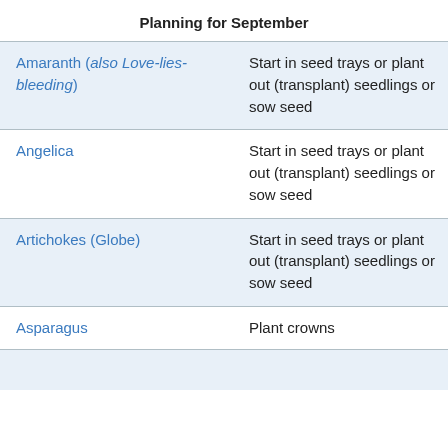Planning for September
| Plant | Action |
| --- | --- |
| Amaranth (also Love-lies-bleeding) | Start in seed trays or plant out (transplant) seedlings or sow seed |
| Angelica | Start in seed trays or plant out (transplant) seedlings or sow seed |
| Artichokes (Globe) | Start in seed trays or plant out (transplant) seedlings or sow seed |
| Asparagus | Plant crowns |